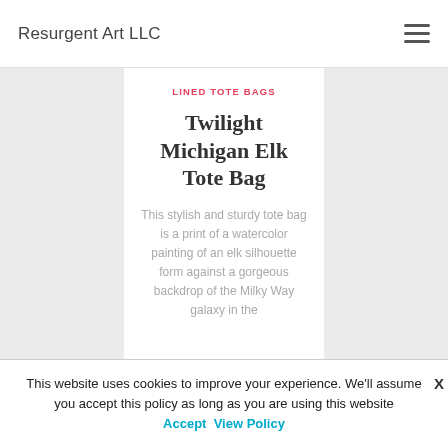Resurgent Art LLC
LINED TOTE BAGS
Twilight Michigan Elk Tote Bag
This stylish and sturdy tote bag is a print of a watercolor painting of an elk silhouette form against a gorgeous backdrop of the Milky Way galaxy in the
This website uses cookies to improve your experience. We'll assume you accept this policy as long as you are using this website Accept View Policy